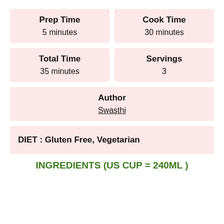Prep Time
5 minutes
Cook Time
30 minutes
Total Time
35 minutes
Servings
3
Author
Swasthi
DIET : Gluten Free, Vegetarian
INGREDIENTS (US CUP = 240ML )